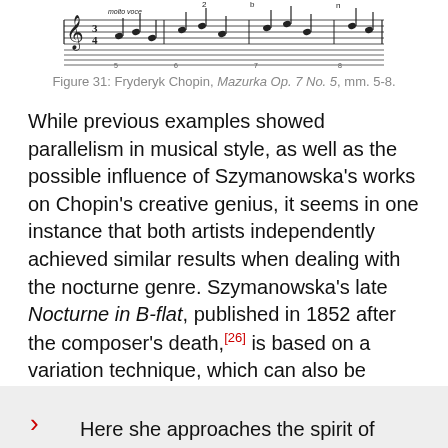[Figure (other): Musical score excerpt showing Chopin Mazurka Op. 7 No. 5, measures 5-8, with notes, time signature, and performance markings]
Figure 31: Fryderyk Chopin, Mazurka Op. 7 No. 5, mm. 5-8.
While previous examples showed parallelism in musical style, as well as the possible influence of Szymanowska's works on Chopin's creative genius, it seems in one instance that both artists independently achieved similar results when dealing with the nocturne genre. Szymanowska's late Nocturne in B-flat, published in 1852 after the composer's death,[26] is based on a variation technique, which can also be found in Chopin's Nocturne Op. 9 No. 2 and in his Berceuse Op. 47. George Golos writes:[27]
Here she approaches the spirit of